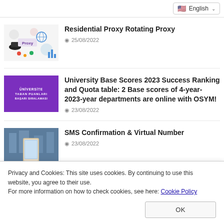English
[Figure (illustration): Proxy thumbnail image with colorful icons and text 'Proxy']
Residential Proxy Rotating Proxy
25/08/2022
[Figure (illustration): Purple banner with white text: Üniversite Taban Puanları Başarı Sıralaması]
University Base Scores 2023 Success Ranking and Quota table: 2 Base scores of 4-year- 2023-year departments are online with OSYM!
23/08/2022
[Figure (photo): Person holding a smartphone, blurred background]
SMS Confirmation & Virtual Number
23/08/2022
Privacy and Cookies: This site uses cookies. By continuing to use this website, you agree to their use.
For more information on how to check cookies, see here: Cookie Policy
OK